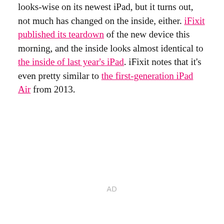looks-wise on its newest iPad, but it turns out, not much has changed on the inside, either. iFixit published its teardown of the new device this morning, and the inside looks almost identical to the inside of last year's iPad. iFixit notes that it's even pretty similar to the first-generation iPad Air from 2013.
AD